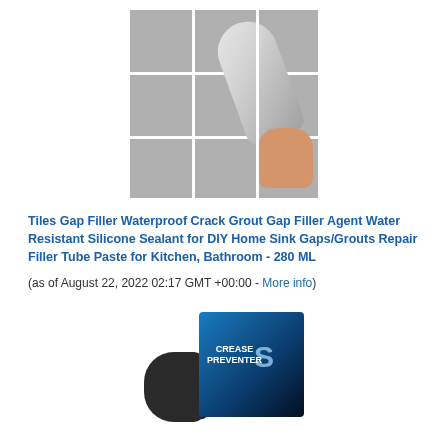[Figure (photo): A hand holding a caulking tube/syringe applying white sealant to grey tile grout lines. The tube has red and black text labeling.]
Tiles Gap Filler Waterproof Crack Grout Gap Filler Agent Water Resistant Silicone Sealant for DIY Home Sink Gaps/Grouts Repair Filler Tube Paste for Kitchen, Bathroom - 280 ML
(as of August 22, 2022 02:17 GMT +00:00 - More info)
[Figure (photo): A black shoe crease preventer insert product with packaging box showing blue gradient design with 'Crease Preventer' text and a white sneaker silhouette.]